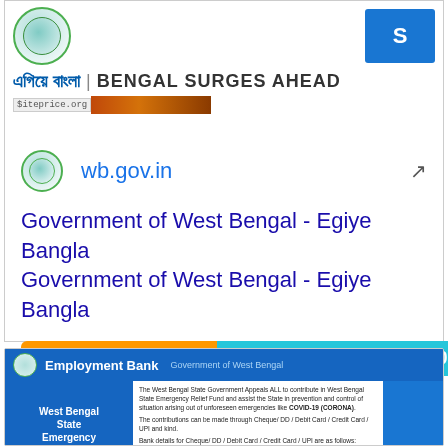[Figure (screenshot): Top section showing Bengal Surges Ahead banner with circular logo and blue square icon, siteprice.org watermark bar]
এগিয়ে বাংলা | BENGAL SURGES AHEAD
wb.gov.in
Government of West Bengal - Egiye Bangla
Government of West Bengal - Egiye Bangla
Daily Traffic: 37,615   Website Worth: $ 239,100
[Figure (screenshot): Employment Bank West Bengal State Emergency Relief Fund webpage screenshot showing fund details and account information table]